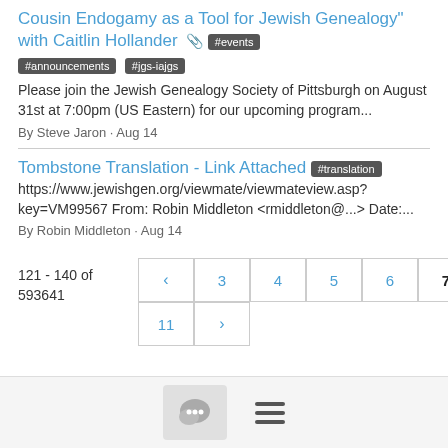Cousin Endogamy as a Tool for Jewish Genealogy" with Caitlin Hollander 📎 #events
#announcements #jgs-iajgs
Please join the Jewish Genealogy Society of Pittsburgh on August 31st at 7:00pm (US Eastern) for our upcoming program...
By Steve Jaron · Aug 14
Tombstone Translation - Link Attached #translation
https://www.jewishgen.org/viewmate/viewmateview.asp?key=VM99567 From: Robin Middleton <rmiddleton@...> Date:...
By Robin Middleton · Aug 14
121 - 140 of 593641
Pagination: ‹ 3 4 5 6 7 8 9 10 11 ›